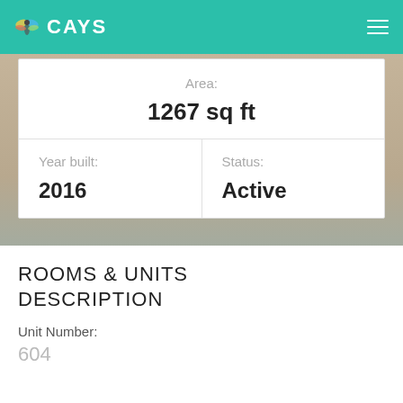CAYS
| Area | Year built | Status |
| --- | --- | --- |
| 1267 sq ft | 2016 | Active |
ROOMS & UNITS DESCRIPTION
Unit Number:
604